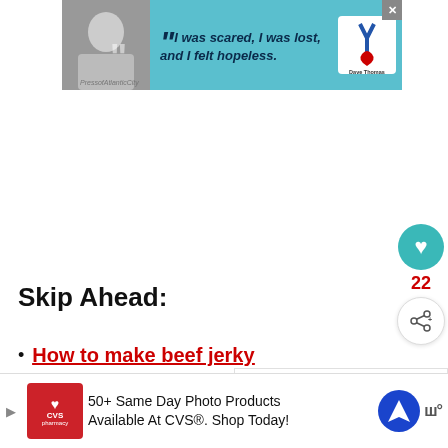[Figure (other): Advertisement banner for Dave Thomas Foundation for Adoption with a woman's photo and quote 'I was scared, I was lost, and I felt hopeless.']
Skip Ahead:
How to make beef jerky
Storing beef jerky
Beef jerky shelf life
[Figure (other): Bottom advertisement for CVS Pharmacy: 50+ Same Day Photo Products Available At CVS®. Shop Today!]
[Figure (other): WHAT'S NEXT panel: Pickled Banana...]